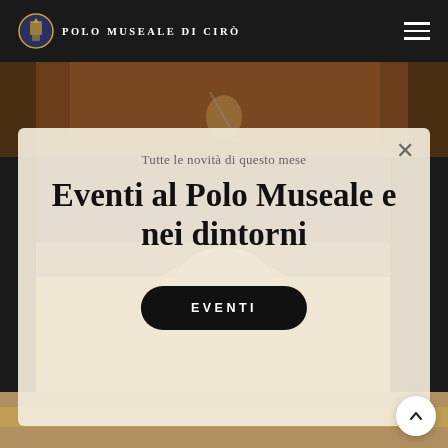POLO MUSEALE DI CIRÒ
[Figure (screenshot): Museum website screenshot with navigation header, background image of artwork/painting, and a modal popup overlay prompting users about events.]
Portrait of a Young Man
Sandro Bo...
Tutte le novità di questo mese
Eventi al Polo Museale e nei dintorni
EVENTI